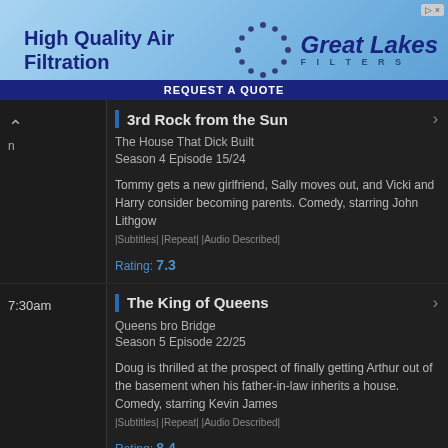[Figure (other): Advertisement banner for Great Lakes Filters - High Quality Air Filtration with blue sky background and company logo]
3rd Rock from the Sun
The House That Dick Built
Season 4 Episode 15/24
Tommy gets a new girlfriend, Sally moves out, and Vicki and Harry consider becoming parents. Comedy, starring John Lithgow
|Subtitles| |Repeat| |Audio Described|
Rating: 7.3
7:30am
The King of Queens
Queens bro Bridge
Season 5 Episode 22/25
Doug is thrilled at the prospect of finally getting Arthur out of the basement when his father-in-law inherits a house. Comedy, starring Kevin James
|Subtitles| |Repeat| |Audio Described|
Rating: 8.4
7:55am
The King of Queens
Dog Shelter
Season 5 Episode 23/25